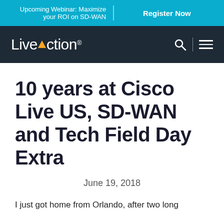Upcoming Webinar: Maximize your ROI on SD-WAN   Register Now
[Figure (logo): LiveAction logo in white on dark navy navbar with search and menu icons]
10 years at Cisco Live US, SD-WAN and Tech Field Day Extra
June 19, 2018
I just got home from Orlando, after two long